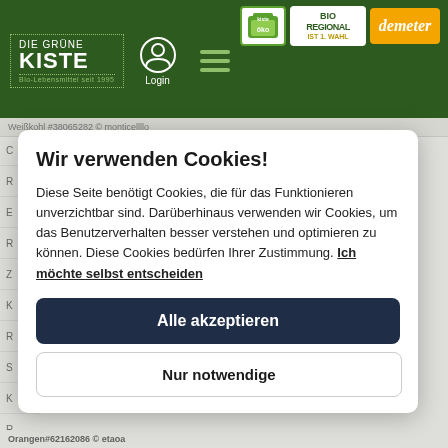DIE GRÜNE KISTE — Bio-Lebensmittel seit 1995 | Login | Ökokiste | BIO REGIONAL IST 1. WAHL | demeter
Weißkohl #38065282 © monticellllo
Wir verwenden Cookies!
Diese Seite benötigt Cookies, die für das Funktionieren unverzichtbar sind. Darüberhinaus verwenden wir Cookies, um das Benutzerverhalten besser verstehen und optimieren zu können. Diese Cookies bedürfen Ihrer Zustimmung. Ich möchte selbst entscheiden
Alle akzeptieren
Nur notwendige
Orangen#62162086 © etaoa